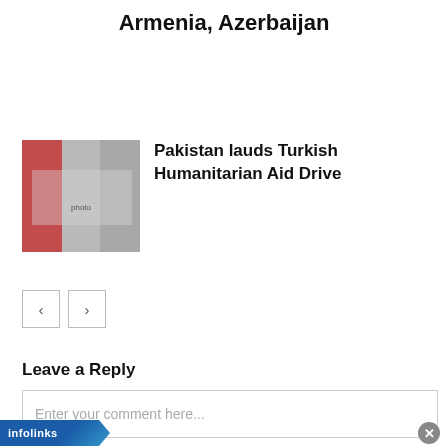Armenia, Azerbaijan
[Figure (photo): Thumbnail photo showing people with flags and signs]
Pakistan lauds Turkish Humanitarian Aid Drive
[Figure (other): Navigation previous/next buttons]
Leave a Reply
Enter your comment here...
[Figure (other): Infolinks advertisement bar]
[Figure (other): Amazon.com advertisement: Online Shopping for Everyone]